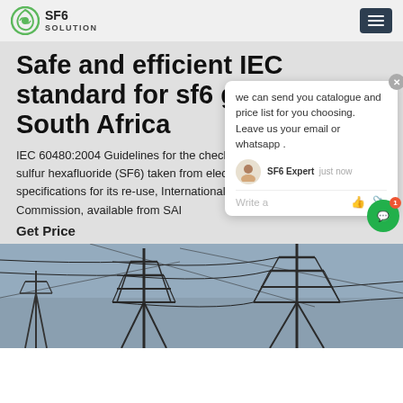SF6 SOLUTION
Safe and efficient IEC standard for sf6 gas South Africa
IEC 60480:2004 Guidelines for the checking and treatment of sulfur hexafluoride (SF6) taken from electrical equipment and specifications for its re-use, International Electrotechnical Commission, available from SAI
Get Price
[Figure (screenshot): Chat popup widget showing message 'we can send you catalogue and price list for you choosing. Leave us your email or whatsapp.' with SF6 Expert avatar and 'just now' timestamp, Write a message input area with like and attachment icons.]
[Figure (photo): Low-angle photograph of high-voltage electrical transmission towers and power lines against a grey sky.]